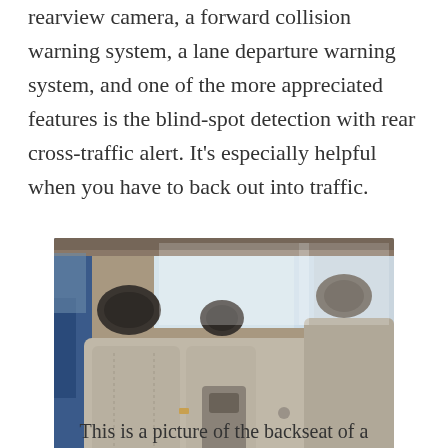rearview camera, a forward collision warning system, a lane departure warning system, and one of the more appreciated features is the blind-spot detection with rear cross-traffic alert. It's especially helpful when you have to back out into traffic.
[Figure (photo): Interior photo of the backseat of a car, showing light gray leather seats with black headrests, a blue car door frame on the left, and windows with bright outdoor light in the background.]
This is a picture of the backseat of a